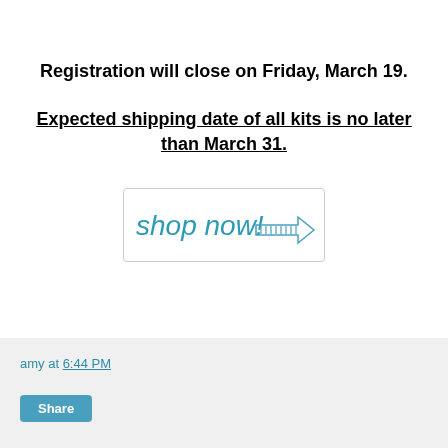Registration will close on Friday, March 19.
Expected shipping date of all kits is no later than March 31.
[Figure (illustration): A shop now button graphic with handwritten-style teal text reading 'shop now!' and a hatched arrow pointing right, inside a rounded rectangle border.]
amy at 6:44 PM  Share